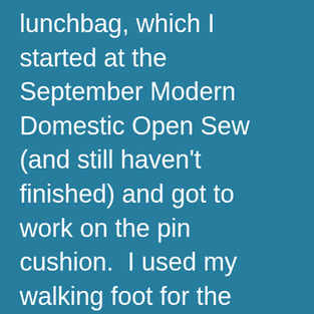lunchbag, which I started at the September Modern Domestic Open Sew (and still haven't finished) and got to work on the pin cushion.  I used my walking foot for the lines.  I noticed that my stitch was very uneven, but I was a little blurry eyed so I didn't “really” notice until I was